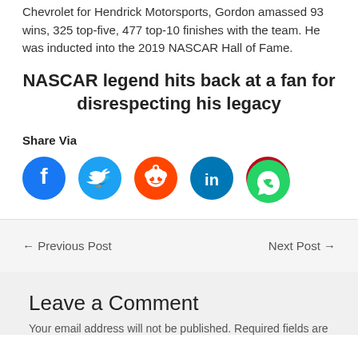Chevrolet for Hendrick Motorsports, Gordon amassed 93 wins, 325 top-five, 477 top-10 finishes with the team. He was inducted into the 2019 NASCAR Hall of Fame.
NASCAR legend hits back at a fan for disrespecting his legacy
Share Via
[Figure (infographic): Social media share icons: Facebook (blue), Twitter (light blue), Reddit (orange), LinkedIn (dark teal), Pinterest (red), WhatsApp (green)]
← Previous Post
Next Post →
Leave a Comment
Your email address will not be published. Required fields are